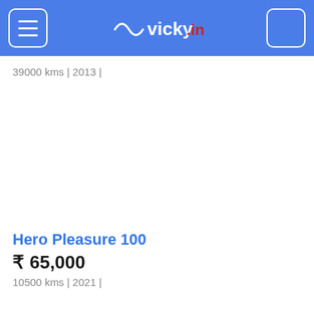vicky.in
39000 kms | 2013 |
[Figure (photo): Placeholder image area for vehicle listing (Hero Pleasure 100)]
Hero Pleasure 100
₹ 65,000
10500 kms | 2021 |